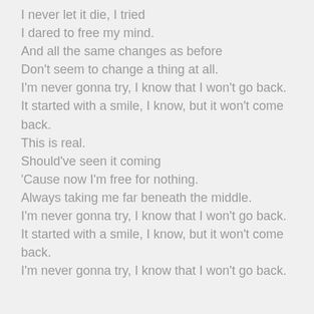I never let it die, I tried
I dared to free my mind.
And all the same changes as before
Don't seem to change a thing at all.
I'm never gonna try, I know that I won't go back.
It started with a smile, I know, but it won't come back.
This is real.
Should've seen it coming
'Cause now I'm free for nothing.
Always taking me far beneath the middle.
I'm never gonna try, I know that I won't go back.
It started with a smile, I know, but it won't come back.
I'm never gonna try, I know that I won't go back.